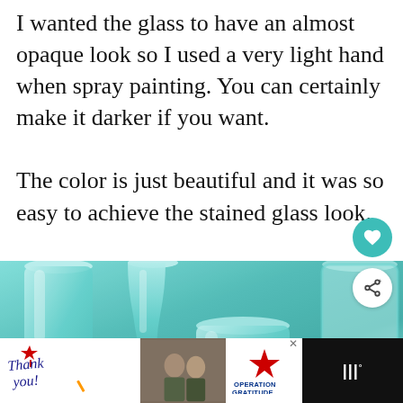I wanted the glass to have an almost opaque look so I used a very light hand when spray painting. You can certainly make it darker if you want.

The color is just beautiful and it was so easy to achieve the stained glass look.
[Figure (photo): Photo of teal/aqua spray-painted glass jars and vases arranged together, showing a stained glass effect. A 'What's Next' overlay shows a thumbnail and text 'How To Set A Simple...' with teal arrow. Heart and share buttons visible on right side.]
[Figure (screenshot): Advertisement bar at bottom: white background ad with 'Thank you!' handwriting script with American flag graphic, military photo in center, and 'OPERATION GRATITUDE' logo on right. Close X button visible. Dark background with MLB TV logo on far right.]